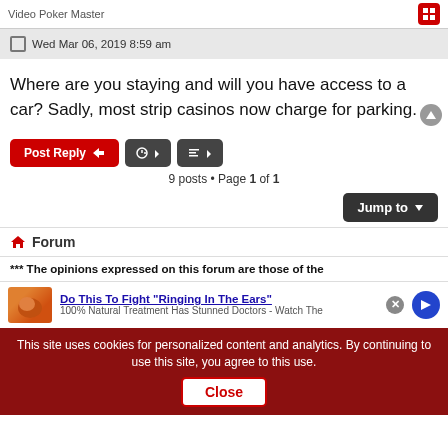Video Poker Master
Wed Mar 06, 2019 8:59 am
Where are you staying and will you have access to a car? Sadly, most strip casinos now charge for parking.
9 posts • Page 1 of 1
Forum
*** The opinions expressed on this forum are those of the
Do This To Fight "Ringing In The Ears"
100% Natural Treatment Has Stunned Doctors - Watch The
This site uses cookies for personalized content and analytics. By continuing to use this site, you agree to this use.